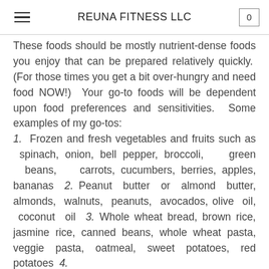REUNA FITNESS LLC
These foods should be mostly nutrient-dense foods you enjoy that can be prepared relatively quickly.  (For those times you get a bit over-hungry and need food NOW!)  Your go-to foods will be dependent upon food preferences and sensitivities.  Some examples of my go-tos:
1.  Frozen and fresh vegetables and fruits such as  spinach, onion, bell pepper, broccoli,  green  beans,  carrots, cucumbers, berries, apples, bananas
2.  Peanut  butter  or  almond  butter, almonds,  walnuts,  peanuts,  avocados, olive  oil,  coconut  oil
3.  Whole wheat bread,  brown rice,  jasmine rice,  canned beans,  whole wheat pasta,  veggie pasta, oatmeal,  sweet potatoes,  red potatoes
4.